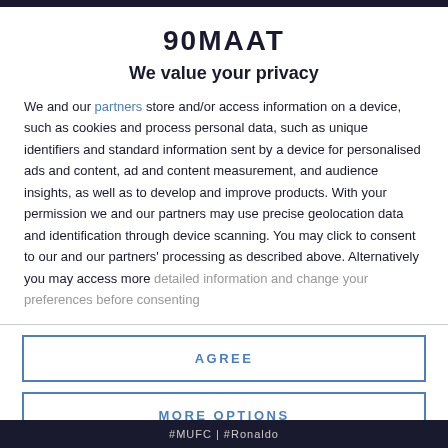90MAAT
We value your privacy
We and our partners store and/or access information on a device, such as cookies and process personal data, such as unique identifiers and standard information sent by a device for personalised ads and content, ad and content measurement, and audience insights, as well as to develop and improve products. With your permission we and our partners may use precise geolocation data and identification through device scanning. You may click to consent to our and our partners' processing as described above. Alternatively you may access more detailed information and change your preferences before consenting
AGREE
MORE OPTIONS
#MUFC | #Ronaldo